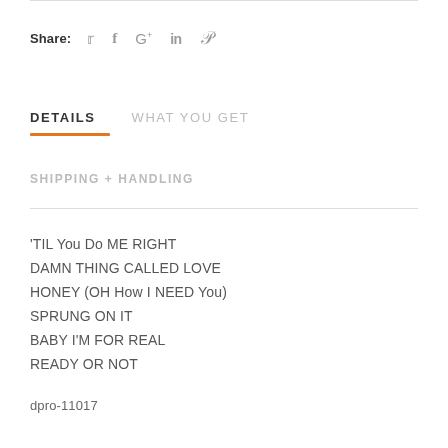Share:  🐦  f  G+  in  𝓟
DETAILS   WHAT YOU GET
SHIPPING + HANDLING
'TIL You Do ME RIGHT
DAMN THING CALLED LOVE
HONEY (OH How I NEED You)
SPRUNG ON IT
BABY I'M FOR REAL
READY OR NOT
dpro-11017